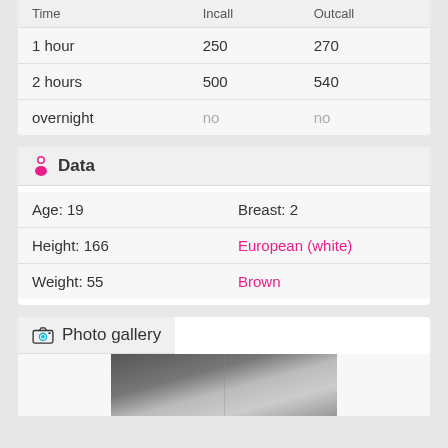| Time | Incall | Outcall |
| --- | --- | --- |
| 1 hour | 250 | 270 |
| 2 hours | 500 | 540 |
| overnight | no | no |
Data
| Age: 19 | Breast: 2 |
| Height: 166 | European (white) |
| Weight: 55 | Brown |
Photo gallery
[Figure (photo): Partial photo visible at bottom of page, appears to be a blurred/dark background image]